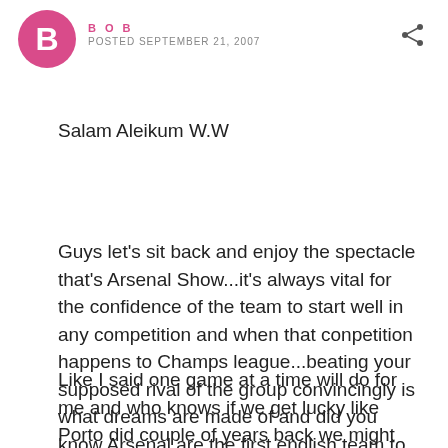BOB — POSTED SEPTEMBER 21, 2007
Salam Aleikum W.W
Guys let's sit back and enjoy the spectacle that's Arsenal Show...it's always vital for the confidence of the team to start well in any competition and when that conpetition happens to Champs league...beating your supposed rival of the group convincingly is what dreams are made of and did you know Arsenal are the first english team to beat Sevilla in 5 attempts?
Like I said one game at a time will do for me and who knows if we get lucky like Porto did couple of years back we might end up lifting the cup before the so called pundits even give